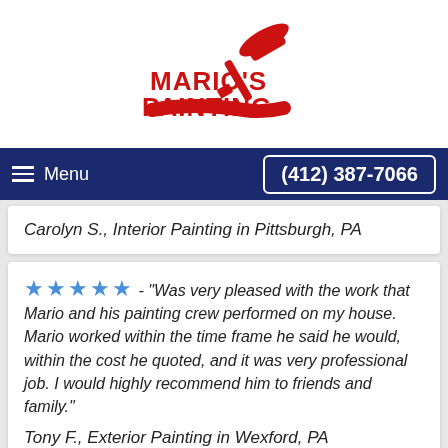[Figure (logo): Mario's Painting logo with red text and paint roller image]
Menu  (412) 387-7066
Carolyn S., Interior Painting in Pittsburgh, PA
★★★★★ - "Was very pleased with the work that Mario and his painting crew performed on my house. Mario worked within the time frame he said he would, within the cost he quoted, and it was very professional job. I would highly recommend him to friends and family."
Tony F., Exterior Painting in Wexford, PA